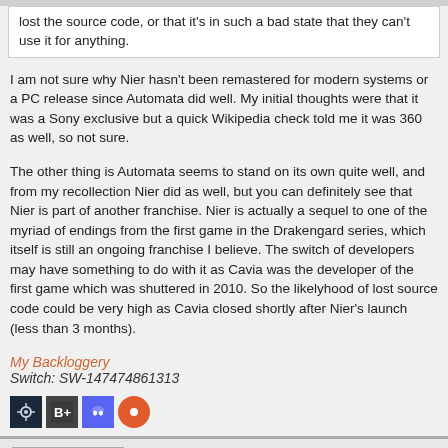lost the source code, or that it's in such a bad state that they can't use it for anything.
I am not sure why Nier hasn't been remastered for modern systems or a PC release since Automata did well. My initial thoughts were that it was a Sony exclusive but a quick Wikipedia check told me it was 360 as well, so not sure.
The other thing is Automata seems to stand on its own quite well, and from my recollection Nier did as well, but you can definitely see that Nier is part of another franchise. Nier is actually a sequel to one of the myriad of endings from the first game in the Drakengard series, which itself is still an ongoing franchise I believe. The switch of developers may have something to do with it as Cavia was the developer of the first game which was shuttered in 2010. So the likelyhood of lost source code could be very high as Cavia closed shortly after Nier's launch (less than 3 months).
My Backloggery
Switch: SW-147474861313
[Figure (other): Social media icons: Steam, GameBattles/backloggery, Discord, and a red circle icon]
Malkroth
JRPG Aficionado
Posted: July 9, 2019 2:27 AM
[Figure (illustration): Avatar image of a fantasy/RPG character with dark outfit]
[Figure (other): Handcuffs emoji icon in gold/yellow]
Yesterday I got to a point where I failed a bunch of side quests all at once